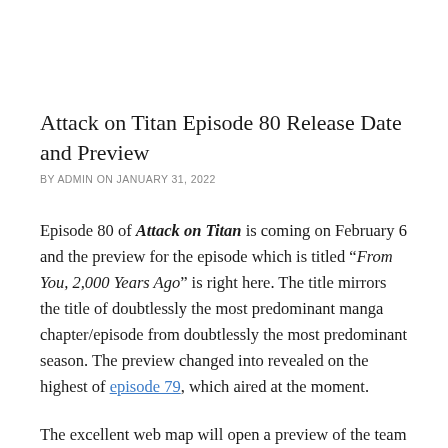Attack on Titan Episode 80 Release Date and Preview
BY ADMIN ON JANUARY 31, 2022
Episode 80 of Attack on Titan is coming on February 6 and the preview for the episode which is titled “From You, 2,000 Years Ago” is right here. The title mirrors the title of doubtlessly the most predominant manga chapter/episode from doubtlessly the most predominant season. The preview changed into revealed on the highest of episode 79, which aired at the moment.
The excellent web map will open a preview of the team from the existing episode and which the season is.